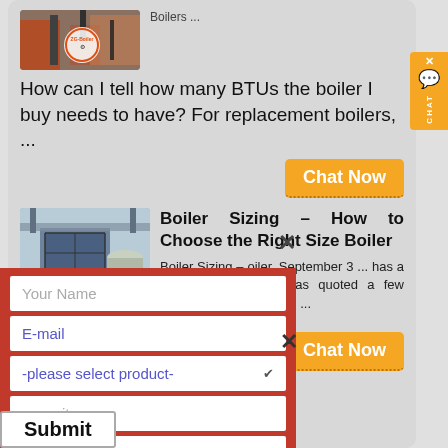[Figure (photo): Industrial boiler facility with orange/red equipment and a circular logo overlay]
Boilers ...
How can I tell how many BTUs the boiler I buy needs to have? For replacement boilers, ...
Chat Now
[Figure (photo): Large industrial boiler structure/building against a sky background]
Boiler Sizing – How to Choose the Right Size Boiler
Boiler Sizing – oiler. September 3 ... has a 15mm gas ngineer has quoted a few hundred quid to replace ...
Chat Now
Your Name
E-mail
-please select product-
capacity
↓↓↓More information↓↓↓
Submit